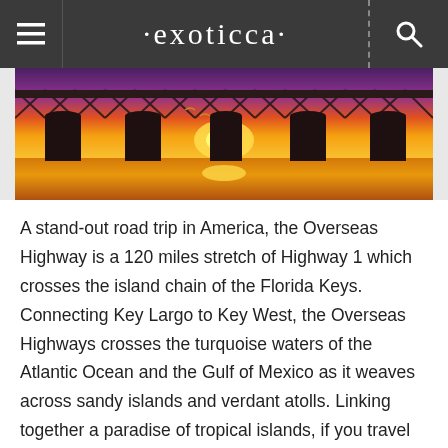exoticca
[Figure (photo): Silhouette of a bridge with large pillars against a vivid orange and yellow sunset sky, reflected in calm water below]
A stand-out road trip in America, the Overseas Highway is a 120 miles stretch of Highway 1 which crosses the island chain of the Florida Keys. Connecting Key Largo to Key West, the Overseas Highways crosses the turquoise waters of the Atlantic Ocean and the Gulf of Mexico as it weaves across sandy islands and verdant atolls. Linking together a paradise of tropical islands, if you travel on the Overseas Highway you'll encounter coral reefs, white sandy beaches and charming seaside